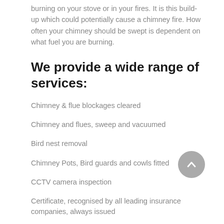burning on your stove or in your fires. It is this build-up which could potentially cause a chimney fire. How often your chimney should be swept is dependent on what fuel you are burning.
We provide a wide range of services:
Chimney & flue blockages cleared
Chimney and flues, sweep and vacuumed
Bird nest removal
Chimney Pots, Bird guards and cowls fitted
CCTV camera inspection
Certificate, recognised by all leading insurance companies, always issued